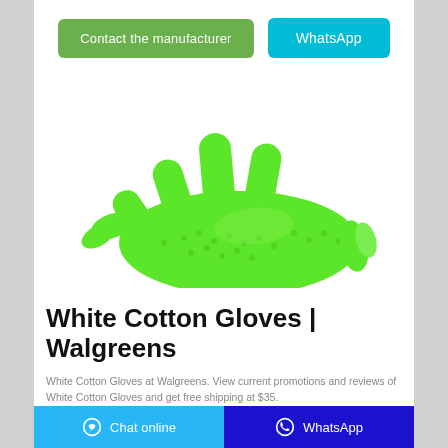[Figure (illustration): Two buttons side by side: a green 'Contact the manufacturer' button and a cyan 'WhatsApp' button]
[Figure (photo): A bright green textured cotton/nitrile glove on a white background, fingers spread open facing right]
White Cotton Gloves | Walgreens
White Cotton Gloves at Walgreens. View current promotions and reviews of White Cotton Gloves and get free shipping at $35.
[Figure (illustration): Footer bar with two sections: left cyan 'Chat online' with chat bubble icon, right dark blue 'WhatsApp' with WhatsApp icon]